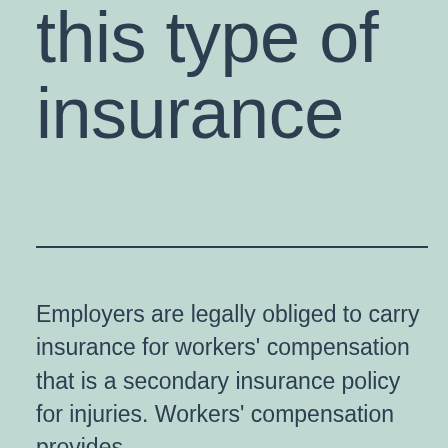this type of insurance
Employers are legally obliged to carry insurance for workers' compensation that is a secondary insurance policy for injuries. Workers' compensation provides